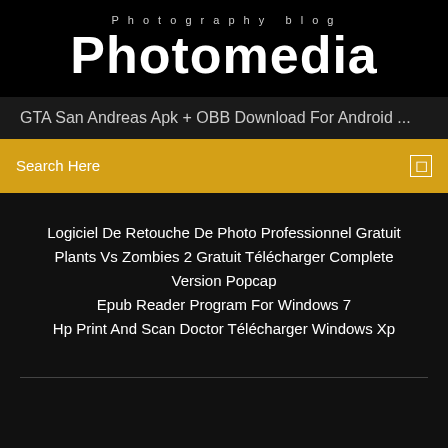Photography blog
Photomedia
GTA San Andreas Apk + OBB Download For Android ...
Search Here
Logiciel De Retouche De Photo Professionnel Gratuit
Plants Vs Zombies 2 Gratuit Télécharger Complete Version Popcap
Epub Reader Program For Windows 7
Hp Print And Scan Doctor Télécharger Windows Xp